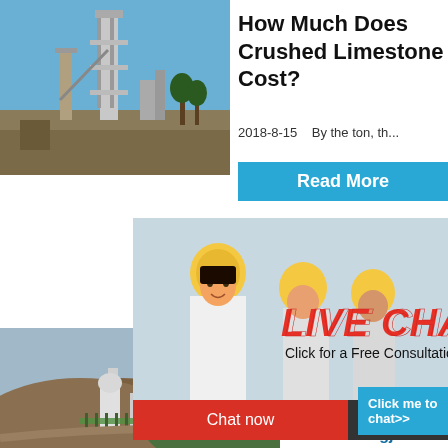[Figure (photo): Industrial cement/limestone plant with tall towers and blue sky background]
How Much Does Crushed Limestone Cost?
2018-8-15   By the ton, th...
[Figure (screenshot): Blue 'Read More' button]
[Figure (photo): Live chat overlay with workers in yellow hard hats, LIVE CHAT text in red italic, subtitle 'Click for a Free Consultation', Chat now (red) and Chat later (dark) buttons]
hour online
[Figure (photo): Crusher machinery - industrial jaw crusher on white/grey background]
Crushe and Mo
2021-11-
[Figure (photo): Mining site with large mounds of earth and industrial structures]
[Figure (screenshot): Blue 'Click me to chat>>' button]
[Figure (screenshot): Bottom blue bar with 'Read' and 'Enquiry' buttons]
limingjlmofen